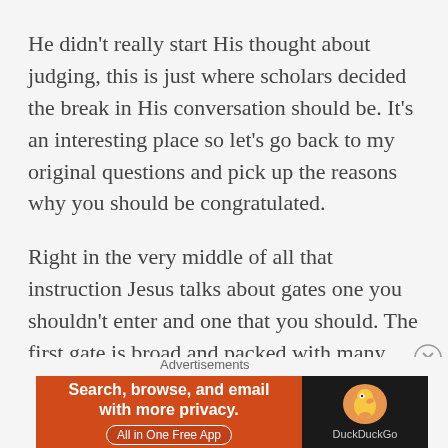He didn't really start His thought about judging, this is just where scholars decided the break in His conversation should be. It's an interesting place so let's go back to my original questions and pick up the reasons why you should be congratulated.
Right in the very middle of all that instruction Jesus talks about gates one you shouldn't enter and one that you should. The first gate is broad and packed with many folks, but the second is hard and full of troubles. This is the very gate that Jesus told you to seek for and not only seek it but go through it!
[Figure (other): DuckDuckGo advertisement banner: orange left side with text 'Search, browse, and email with more privacy. All in One Free App' and dark right side with DuckDuckGo duck logo and DuckDuckGo text.]